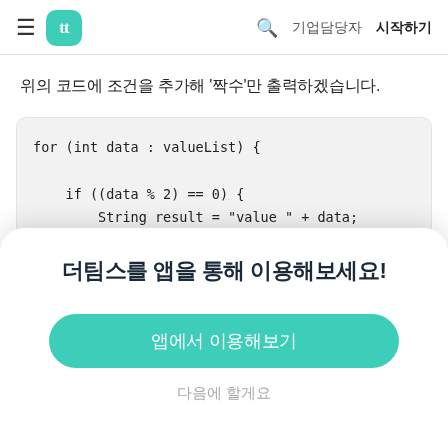tt  기업담당자  시작하기
위의 코드에 조건을 추가해 '짝수'만 출력하겠습니다.
[Figure (screenshot): Code block showing Java for-each loop: for (int data : valueList) { if ((data % 2) == 0) { String result = "value " + data;]
더팀스를 앱을 통해 이용해보세요!
앱에서 이용해보기
다음에 할게요